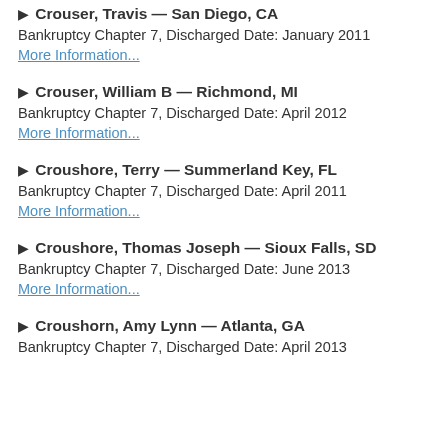▶ Crouser, Travis — San Diego, CA
Bankruptcy Chapter 7, Discharged Date: January 2011
More Information...
▶ Crouser, William B — Richmond, MI
Bankruptcy Chapter 7, Discharged Date: April 2012
More Information...
▶ Croushore, Terry — Summerland Key, FL
Bankruptcy Chapter 7, Discharged Date: April 2011
More Information...
▶ Croushore, Thomas Joseph — Sioux Falls, SD
Bankruptcy Chapter 7, Discharged Date: June 2013
More Information...
▶ Croushorn, Amy Lynn — Atlanta, GA
Bankruptcy Chapter 7, Discharged Date: April 2013